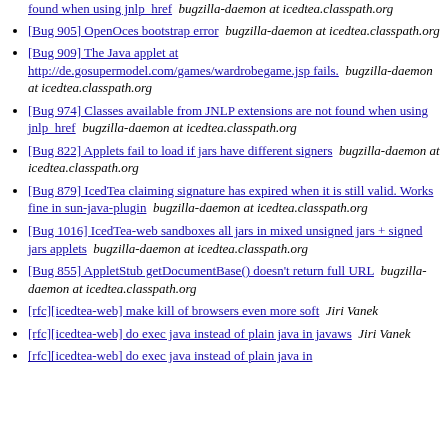found when using jnlp_href  bugzilla-daemon at icedtea.classpath.org
[Bug 905] OpenOces bootstrap error  bugzilla-daemon at icedtea.classpath.org
[Bug 909] The Java applet at http://de.gosupermodel.com/games/wardrobegame.jsp fails.  bugzilla-daemon at icedtea.classpath.org
[Bug 974] Classes available from JNLP extensions are not found when using jnlp_href  bugzilla-daemon at icedtea.classpath.org
[Bug 822] Applets fail to load if jars have different signers  bugzilla-daemon at icedtea.classpath.org
[Bug 879] IcedTea claiming signature has expired when it is still valid. Works fine in sun-java-plugin  bugzilla-daemon at icedtea.classpath.org
[Bug 1016] IcedTea-web sandboxes all jars in mixed unsigned jars + signed jars applets  bugzilla-daemon at icedtea.classpath.org
[Bug 855] AppletStub getDocumentBase() doesn't return full URL  bugzilla-daemon at icedtea.classpath.org
[rfc][icedtea-web] make kill of browsers even more soft  Jiri Vanek
[rfc][icedtea-web] do exec java instead of plain java in javaws  Jiri Vanek
[rfc][icedtea-web] do exec java instead of plain java in javaws  Jiri Vanek